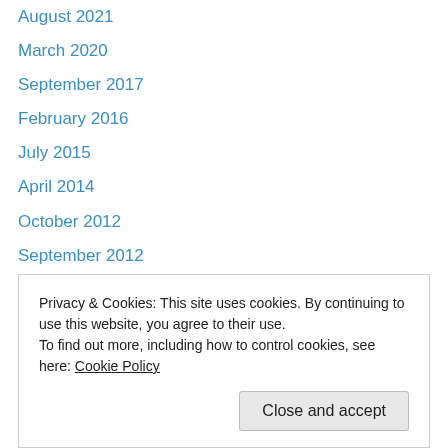August 2021
March 2020
September 2017
February 2016
July 2015
April 2014
October 2012
September 2012
May 2012
April 2012
March 2012
November 2011
July 2011
Privacy & Cookies: This site uses cookies. By continuing to use this website, you agree to their use.
To find out more, including how to control cookies, see here: Cookie Policy
Close and accept